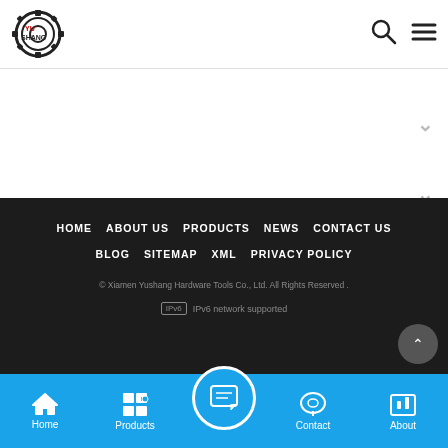YuShang logo header with search and menu icons
[Figure (logo): YuShang gear logo with text YU SHANG in red]
HOME  ABOUT US  PRODUCTS  NEWS  CONTACT US  BLOG  SITEMAP  XML  PRIVACY POLICY
© Xiamen Yushang Hardware Tools Co., Ltd. All Rights Reserved .
IPv6  IPv6 network supported
Home  Products  Contact  About